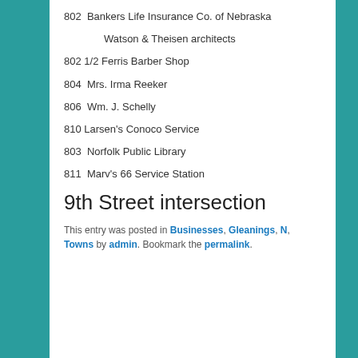802  Bankers Life Insurance Co. of Nebraska
Watson & Theisen architects
802 1/2 Ferris Barber Shop
804  Mrs. Irma Reeker
806  Wm. J. Schelly
810 Larsen's Conoco Service
803  Norfolk Public Library
811  Marv's 66 Service Station
9th Street intersection
This entry was posted in Businesses, Gleanings, N, Towns by admin. Bookmark the permalink.